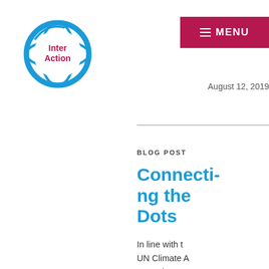[Figure (logo): InterAction logo — circular globe icon in blue with 'InterAction' text in dark red/maroon]
[Figure (other): Menu button — dark pink/crimson rectangle with hamburger icon and 'MENU' text in white]
August 12, 2019
BLOG POST
Connecti... Dots
In line with t... UN Climate A... Summit on t... of the Unite... General Asse...